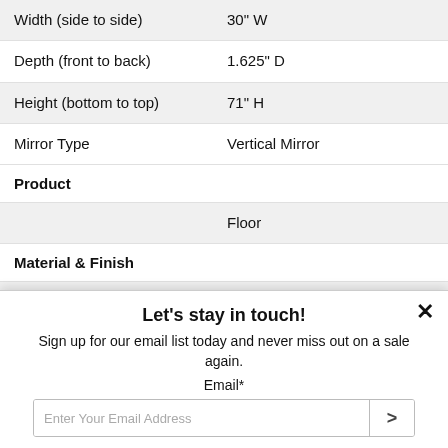| Width (side to side) | 30" W |
| Depth (front to back) | 1.625" D |
| Height (bottom to top) | 71" H |
| Mirror Type | Vertical Mirror |
Product
|  | Floor |
Material & Finish
| Composition | Wood Veneers & Solids |
Let's stay in touch!
Sign up for our email list today and never miss out on a sale again.
Email*
Enter Your Email Address